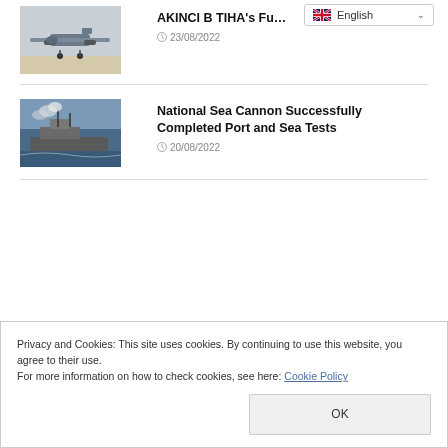[Figure (photo): Drone aircraft on ground (AKINCI B TIHA)]
AKINCI B TIHA's Fu…
23/08/2022
[Figure (photo): Naval warship at sea with smoke]
National Sea Cannon Successfully Completed Port and Sea Tests
20/08/2022
Privacy and Cookies: This site uses cookies. By continuing to use this website, you agree to their use.
For more information on how to check cookies, see here: Cookie Policy
OK